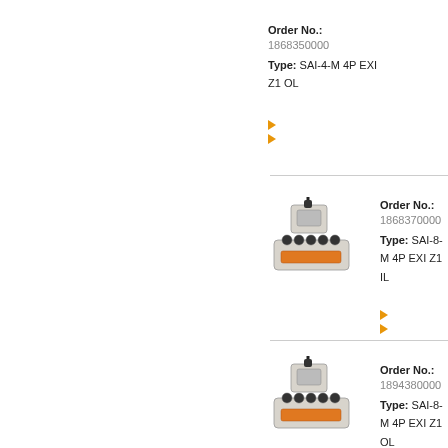Order No.: 1868350000 Type: SAI-4-M 4P EXI Z1 OL
[Figure (photo): Product photo of SAI-8-M 4P EXI Z1 IL sensor/actuator box connector]
Order No.: 1868370000 Type: SAI-8-M 4P EXI Z1 IL
[Figure (photo): Product photo of SAI-8-M 4P EXI Z1 OL sensor/actuator box connector]
Order No.: 1894380000 Type: SAI-8-M 4P EXI Z1 OL